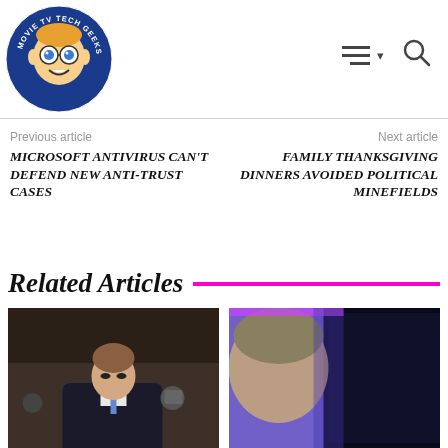[Figure (logo): Movie TV Tech Geeks circular logo with cartoon character]
Navigation icons: hamburger menu and search
Previous article
MICROSOFT ANTIVIRUS CAN'T DEFEND NEW ANTI-TRUST CASES
Next article
FAMILY THANKSGIVING DINNERS AVOIDED POLITICAL MINEFIELDS
Related Articles
[Figure (photo): Man in dark suit looking down, appears to be Mark Zuckerberg at a hearing, photographers in background]
[Figure (photo): Close-up of person near a dark device screen with purple/blue lighting]